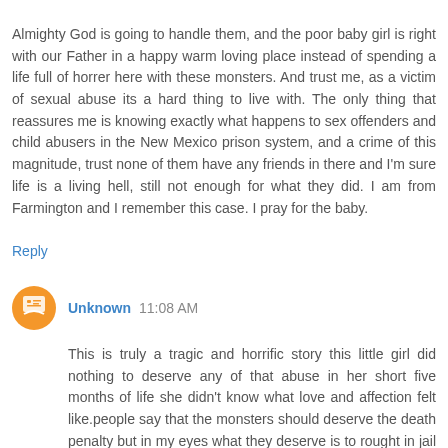Almighty God is going to handle them, and the poor baby girl is right with our Father in a happy warm loving place instead of spending a life full of horrer here with these monsters. And trust me, as a victim of sexual abuse its a hard thing to live with. The only thing that reassures me is knowing exactly what happens to sex offenders and child abusers in the New Mexico prison system, and a crime of this magnitude, trust none of them have any friends in there and I'm sure life is a living hell, still not enough for what they did. I am from Farmington and I remember this case. I pray for the baby.
Reply
Unknown 11:08 AM
This is truly a tragic and horrific story this little girl did nothing to deserve any of that abuse in her short five months of life she didn't know what love and affection felt like.people say that the monsters should deserve the death penalty but in my eyes what they deserve is to rought in jail and suffer as the little girl did.by giving them the death